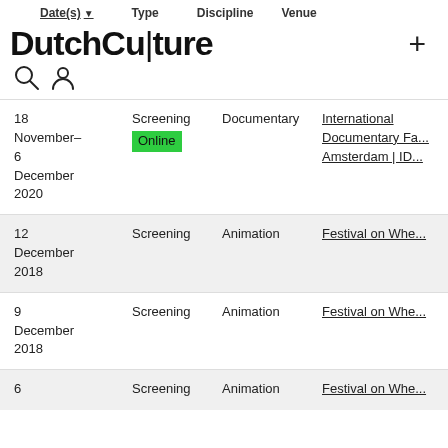Date(s) ▼   Type   Discipline   Venue
DutchCulture
| Date(s) | Type | Discipline | Venue |
| --- | --- | --- | --- |
| 18 November–6 December 2020 | Screening Online | Documentary | International Documentary Fa... Amsterdam | ID... |
| 12 December 2018 | Screening | Animation | Festival on Whe... |
| 9 December 2018 | Screening | Animation | Festival on Whe... |
| 6 | Screening | Animation | Festival on Whe... |